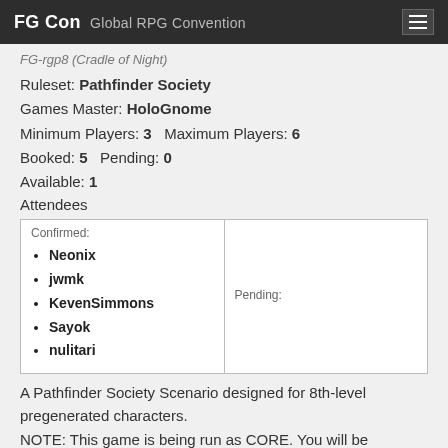FG Con Global RPG Convention
FG-rpg8 (Cradle of Night)
Ruleset: Pathfinder Society
Games Master: HoloGnome
Minimum Players: 3   Maximum Players: 6
Booked: 5   Pending: 0
Available: 1
Attendees
| Confirmed | Pending |
| --- | --- |
| Neonix, jwmk, KevenSimmons, Sayok, nulitari |  |
A Pathfinder Society Scenario designed for 8th-level pregenerated characters.
NOTE: This game is being run as CORE. You will be